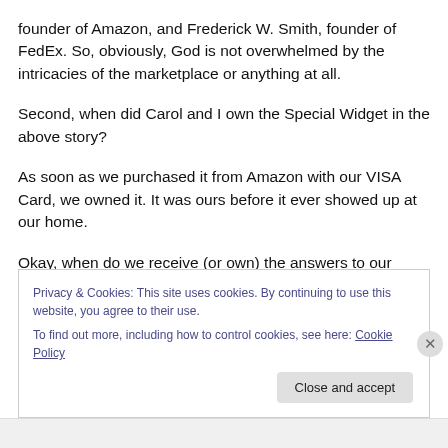founder of Amazon, and Frederick W. Smith, founder of FedEx. So, obviously, God is not overwhelmed by the intricacies of the marketplace or anything at all.
Second, when did Carol and I own the Special Widget in the above story?
As soon as we purchased it from Amazon with our VISA Card, we owned it. It was ours before it ever showed up at our home.
Okay, when do we receive (or own) the answers to our
Privacy & Cookies: This site uses cookies. By continuing to use this website, you agree to their use.
To find out more, including how to control cookies, see here: Cookie Policy
Close and accept